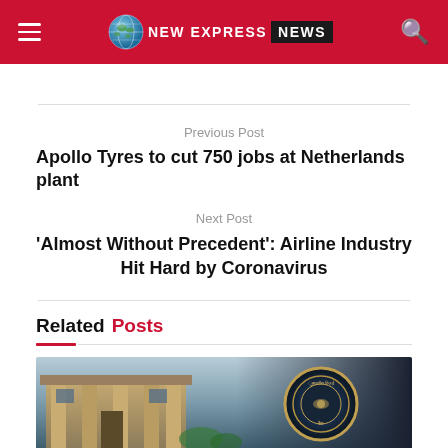New Express News
Previous Post
Apollo Tyres to cut 750 jobs at Netherlands plant
Next Post
'Almost Without Precedent': Airline Industry Hit Hard by Coronavirus
Related Posts
[Figure (photo): Photo of RBI building exterior with Reserve Bank of India circular seal emblem]